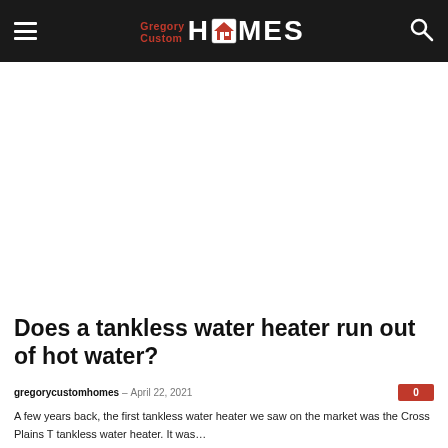Gregory Custom HOMES
Does a tankless water heater run out of hot water?
gregorycustomhomes – April 22, 2021
A few years back, the first tankless water heater we saw on the market was the Cross Plains T tankless water heater. It was...